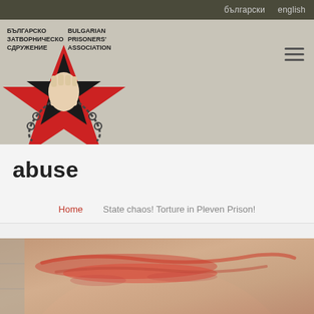български   english
[Figure (logo): Bulgarian Prisoners' Association logo featuring a star with a raised fist breaking chains, with Cyrillic and English text: БЪЛГАРСКО ЗАТВОРНИЧЕСКО СДРУЖЕНИЕ / BULGARIAN PRISONERS' ASSOCIATION]
abuse
Home   State chaos! Torture in Pleven Prison!
[Figure (photo): Close-up photograph of a person's neck/jaw area showing red marks and bruising, apparently documenting injuries — related to a prison abuse case at Pleven Prison]